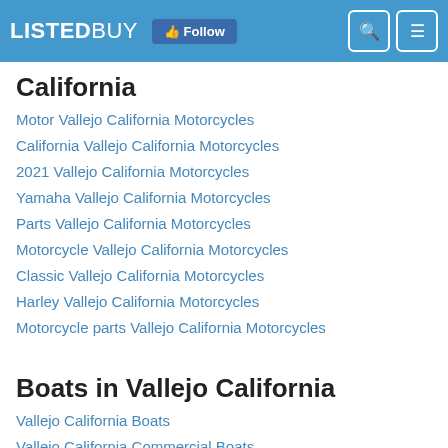LISTEDBUY Follow
California
Motor Vallejo California Motorcycles
California Vallejo California Motorcycles
2021 Vallejo California Motorcycles
Yamaha Vallejo California Motorcycles
Parts Vallejo California Motorcycles
Motorcycle Vallejo California Motorcycles
Classic Vallejo California Motorcycles
Harley Vallejo California Motorcycles
Motorcycle parts Vallejo California Motorcycles
Boats in Vallejo California
Vallejo California Boats
Vallejo California Commercial Boats